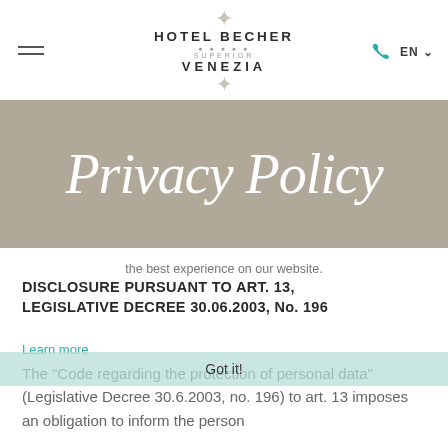[Figure (logo): Hotel Becher Superior Venezia logo with decorative ornament, hamburger menu icon on left, phone icon and EN language selector on right]
Privacy Policy
the best experience on our website.
DISCLOSURE PURSUANT TO ART. 13, LEGISLATIVE DECREE 30.06.2003, No. 196
Learn more
The "Code regarding the protection of personal data" (Legislative Decree 30.6.2003, no. 196) to art. 13 imposes an obligation to inform the person
Got it!